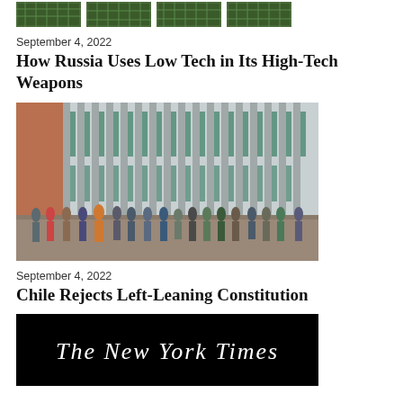[Figure (photo): Row of four small thumbnail images showing green circuit boards]
September 4, 2022
How Russia Uses Low Tech in Its High-Tech Weapons
[Figure (photo): People standing in a queue outside a large art deco building with teal/green glass facade panels]
September 4, 2022
Chile Rejects Left-Leaning Constitution
[Figure (logo): Black rectangle with The New York Times masthead in white serif script]